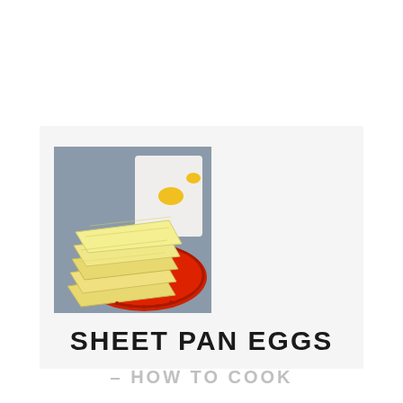[Figure (photo): Stack of sheet pan egg squares on a red decorative plate with a patterned napkin in the background, on a grey surface.]
SHEET PAN EGGS
– HOW TO COOK